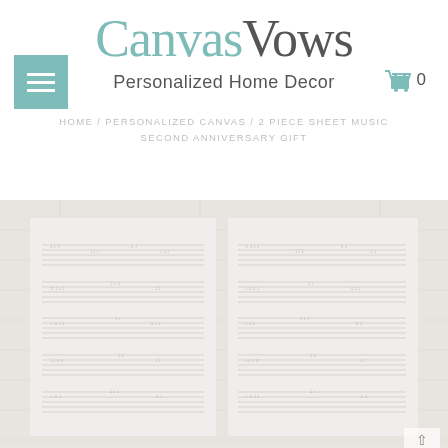CanvasVows Personalized Home Decor
HOME / PERSONALIZED CANVAS / 2 PIECE SHEET MUSIC SECOND ANNIVERSARY GIFT
[Figure (photo): Two canvas prints side by side showing sheet music artwork on a light wooden/stone textured background, used as home decor products]